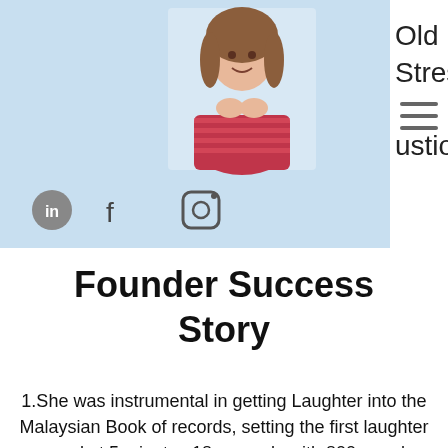[Figure (photo): Website header with light blue background, profile photo of a smiling woman in a striped top, social media icons (LinkedIn, Facebook, Instagram), hamburger menu, and partial text reading 'Old Stress ustion.']
Founder Success Story
1.She was instrumental in getting Laughter into the Malaysian Book of records, setting the first laughter record at 5 minutes 18 seconds with 800 people laughing without jokes.
2. Mahes headed a successful research project at the University of Malaya on the effects of Simulated Laughter and Good Cheer in 2009 to 2012 ...